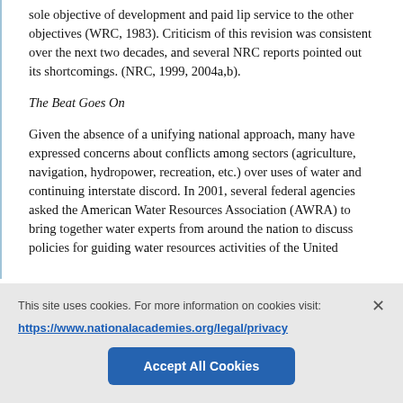sole objective of development and paid lip service to the other objectives (WRC, 1983). Criticism of this revision was consistent over the next two decades, and several NRC reports pointed out its shortcomings. (NRC, 1999, 2004a,b).
The Beat Goes On
Given the absence of a unifying national approach, many have expressed concerns about conflicts among sectors (agriculture, navigation, hydropower, recreation, etc.) over uses of water and continuing interstate discord. In 2001, several federal agencies asked the American Water Resources Association (AWRA) to bring together water experts from around the nation to discuss policies for guiding water resources activities of the United
This site uses cookies. For more information on cookies visit: https://www.nationalacademies.org/legal/privacy
Accept All Cookies